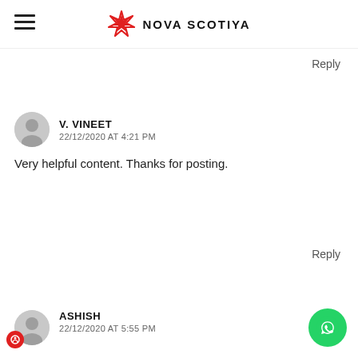NOVA SCOTIYA
Reply
V. VINEET
22/12/2020 AT 4:21 PM
Very helpful content. Thanks for posting.
Reply
ASHISH
22/12/2020 AT 5:55 PM